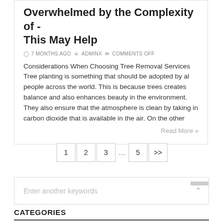Overwhelmed by the Complexity of - This May Help
7 MONTHS AGO  ADMINX  COMMENTS OFF
Considerations When Choosing Tree Removal Services Tree planting is something that should be adopted by al people across the world. This is because trees creates balance and also enhances beauty in the environment. They also ensure that the atmosphere is clean by taking in carbon dioxide that is available in the air. On the other
Read More »
1
2
3
...
5
>>
Enter another keywords
CATEGORIES